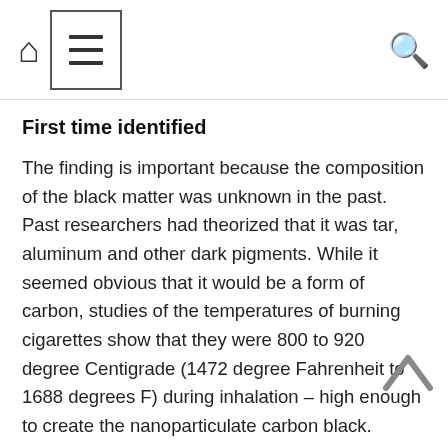Navigation bar with home icon, menu icon, and search icon
First time identified
The finding is important because the composition of the black matter was unknown in the past. Past researchers had theorized that it was tar, aluminum and other dark pigments. While it seemed obvious that it would be a form of carbon, studies of the temperatures of burning cigarettes show that they were 800 to 920 degree Centigrade (1472 degree Fahrenheit to 1688 degrees F) during inhalation – high enough to create the nanoparticulate carbon black.
Not limited to tobacco smoke
Tour emphasizes that the finding is not limited to tobacco smoke. Many products, such as tires